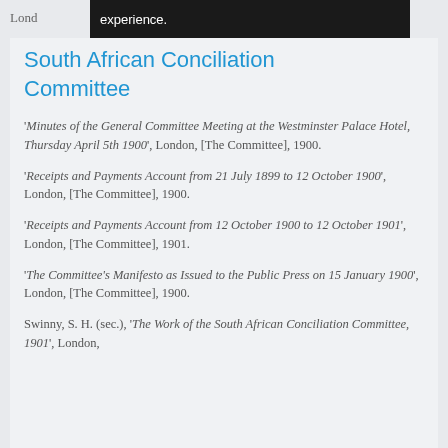Lond
South African Conciliation Committee
'Minutes of the General Committee Meeting at the Westminster Palace Hotel, Thursday April 5th 1900', London, [The Committee], 1900.
'Receipts and Payments Account from 21 July 1899 to 12 October 1900', London, [The Committee], 1900.
'Receipts and Payments Account from 12 October 1900 to 12 October 1901', London, [The Committee], 1901.
'The Committee's Manifesto as Issued to the Public Press on 15 January 1900', London, [The Committee], 1900.
Swinny, S. H. (sec.), 'The Work of the South African Conciliation Committee, 1901', London,